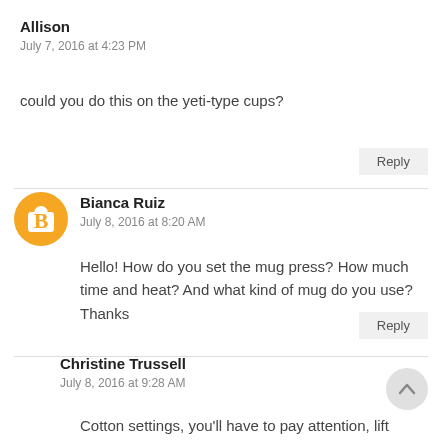Allison
July 7, 2016 at 4:23 PM
could you do this on the yeti-type cups?
Reply
Bianca Ruiz
July 8, 2016 at 8:20 AM
Hello! How do you set the mug press? How much time and heat? And what kind of mug do you use?
Thanks
Reply
Christine Trussell
July 8, 2016 at 9:28 AM
Cotton settings, you'll have to pay attention, lift